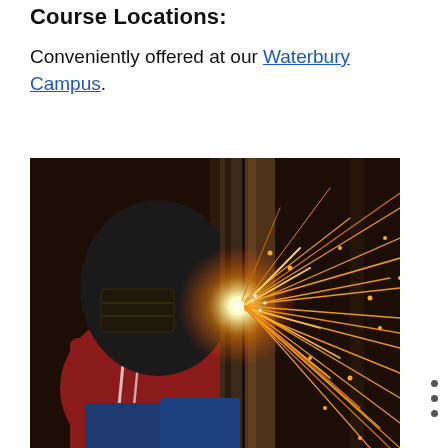Course Locations:
Conveniently offered at our Waterbury Campus.
[Figure (photo): A welder wearing a black welding helmet and red jacket is welding metal, producing a dramatic spray of bright golden sparks flying outward in a dark industrial setting.]